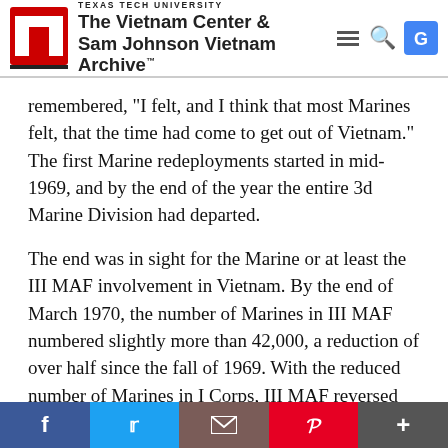TEXAS TECH UNIVERSITY The Vietnam Center & Sam Johnson Vietnam Archive
remembered, "I felt, and I think that most Marines felt, that the time had come to get out of Vietnam." The first Marine redeployments started in mid-1969, and by the end of the year the entire 3d Marine Division had departed.
The end was in sight for the Marine or at least the III MAF involvement in Vietnam. By the end of March 1970, the number of Marines in III MAF numbered slightly more than 42,000, a reduction of over half since the fall of 1969. With the reduced number of Marines in I Corps, III MAF reversed roles with XXIV Corps and now became a subordinate component of that command. On 14 April, III MAF shifted its headquarters to Okinawa, leaving the 13,000 3d Marine Amphibious Brigade in Vietnam.(42) At
f  t  [email]  p  +